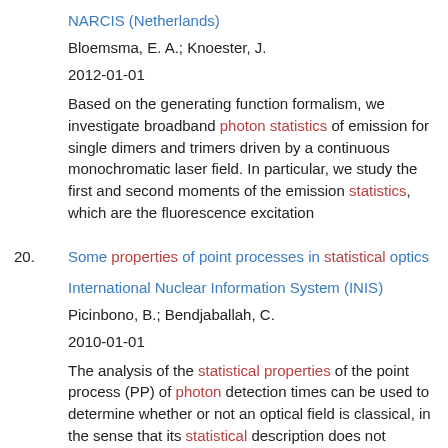NARCIS (Netherlands)
Bloemsma, E. A.; Knoester, J.
2012-01-01
Based on the generating function formalism, we investigate broadband photon statistics of emission for single dimers and trimers driven by a continuous monochromatic laser field. In particular, we study the first and second moments of the emission statistics, which are the fluorescence excitation
20. Some properties of point processes in statistical optics
International Nuclear Information System (INIS)
Picinbono, B.; Bendjaballah, C.
2010-01-01
The analysis of the statistical properties of the point process (PP) of photon detection times can be used to determine whether or not an optical field is classical, in the sense that its statistical description does not require the methods of quantum optics. This determination is, however, more difficult than